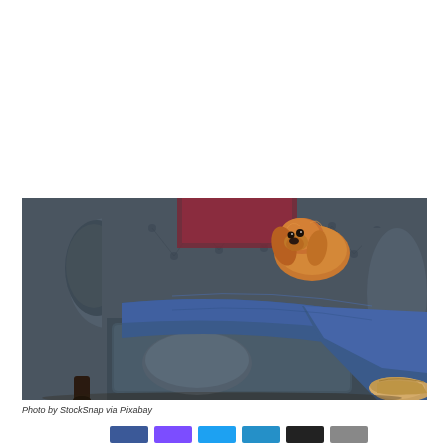[Figure (photo): A person wearing blue jeans and tan moccasin slippers lounging in a large dark grey/blue tufted leather armchair. A golden/brown cocker spaniel dog is draped over the arm of the chair, looking at the camera. The background shows a hardwood floor and part of a white table leg.]
Photo by StockSnap via Pixabay